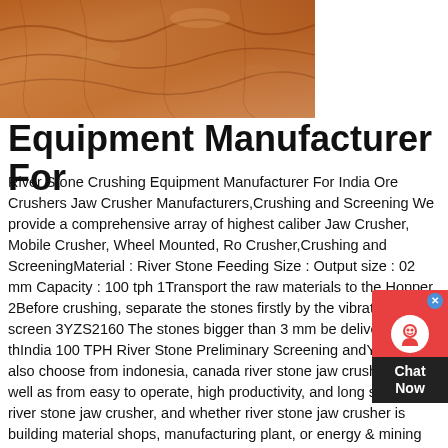[Figure (photo): Aerial or close-up photo of reddish-brown rocky/earthy terrain, possibly a quarry or mining site]
Equipment Manufacturer For
River Stone Crushing Equipment Manufacturer For India Ore Crushers Jaw Crusher Manufacturers,Crushing and Screening We provide a comprehensive array of highest caliber Jaw Crusher, Mobile Crusher, Wheel Mounted, Ro Crusher,Crushing and ScreeningMaterial : River Stone Feeding Size : Output size : 02 mm Capacity : 100 tph 1Transport the raw materials to the Hopper 2Before crushing, separate the stones firstly by the vibrating screen 3YZS2160 The stones bigger than 3 mm be delivered to thIndia 100 TPH River Stone Preliminary Screening andYou can also choose from indonesia, canada river stone jaw crusher, as well as from easy to operate, high productivity, and long service life river stone jaw crusher, and whether river stone jaw crusher is building material shops, manufacturing plant, or energy & mining There are 326 suppliers who sells river stone jaw crusher on Alibaba.